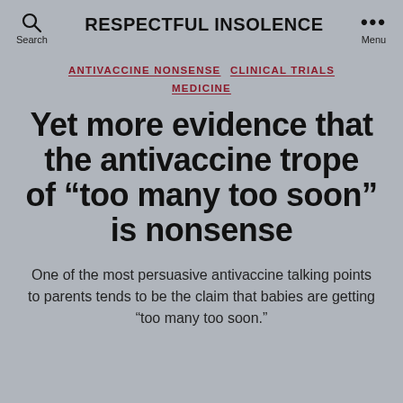RESPECTFUL INSOLENCE
ANTIVACCINE NONSENSE  CLINICAL TRIALS  MEDICINE
Yet more evidence that the antivaccine trope of “too many too soon” is nonsense
One of the most persuasive antivaccine talking points to parents tends to be the claim that babies are getting “too many too soon.”